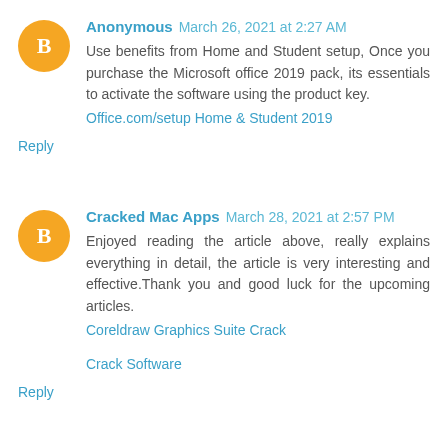Anonymous March 26, 2021 at 2:27 AM
Use benefits from Home and Student setup, Once you purchase the Microsoft office 2019 pack, its essentials to activate the software using the product key.
Office.com/setup Home & Student 2019
Reply
Cracked Mac Apps March 28, 2021 at 2:57 PM
Enjoyed reading the article above, really explains everything in detail, the article is very interesting and effective.Thank you and good luck for the upcoming articles.
Coreldraw Graphics Suite Crack
Crack Software
Reply